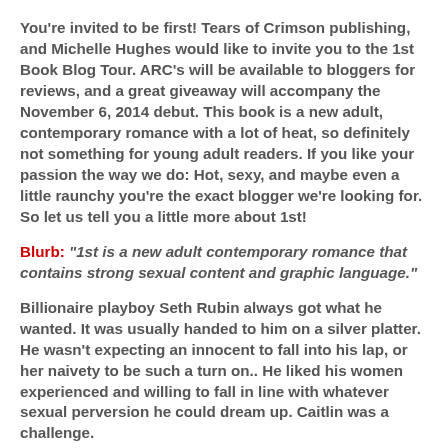You're invited to be first!  Tears of Crimson publishing, and Michelle Hughes would like to invite you to the 1st Book Blog Tour.  ARC's will be available to bloggers for reviews, and a great giveaway will accompany the November 6, 2014 debut.  This book is a new adult, contemporary romance with a lot of heat, so definitely not something for young adult readers. If you like your passion the way we do:  Hot, sexy, and maybe even a little raunchy you're the exact blogger we're looking for.  So let us tell you a little more about 1st!
Blurb:  "1st is a new adult contemporary romance that contains strong sexual content and graphic language."
Billionaire playboy Seth Rubin always got what he wanted.  It was usually handed to him on a silver platter.  He wasn't expecting an innocent to fall into his lap, or her naivety to be such a turn on..  He liked his women experienced and willing to fall in line with whatever sexual perversion he could dream up.  Caitlin was a challenge.